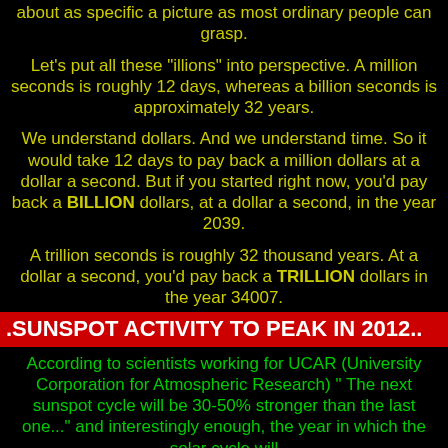about as specific a picture as most ordinary people can grasp.
Let's put all these "illions" into perspective. A million seconds is roughly 12 days, whereas a billion seconds is approximately 32 years.
We understand dollars. And we understand time. So it would take 12 days to pay back a million dollars at a dollar a second. But if you started right now, you'd pay back a BILLION dollars, at a dollar a second, in the year 2039.
A trillion seconds is roughly 32 thousand years. At a dollar a second, you'd pay back a TRILLION dollars in the year 34007.
.SUNSPOT ACTIVITY TO PEAK IN 2012..
According to scientists working for UCAR (University Corporation for Atmospheric Research) " The next sunspot cycle will be 30-50% stronger than the last one..." and interestingly enough, the year in which the solar cycle will